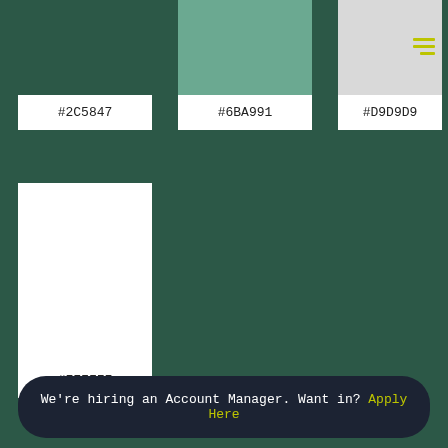[Figure (infographic): Color swatch showing #2C5847 dark green with color block on top and hex code label below]
[Figure (infographic): Color swatch showing #6BA991 medium teal green with color block on top and hex code label below]
[Figure (infographic): Color swatch showing #D9D9D9 light gray with color block on top, hamburger menu icon overlay, and hex code label below]
[Figure (infographic): Color swatch showing #FFFFFF white with large color block on top and hex code label below]
We're hiring an Account Manager. Want in? Apply Here